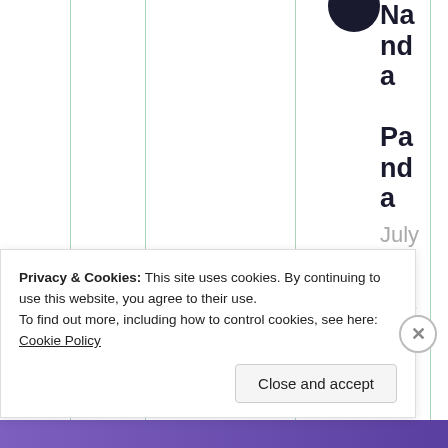[Figure (screenshot): Partial screenshot of a blog/website page showing a table-like column layout with vertical green lines, a partial avatar image at top right, bold author name 'Nanda Panda' displayed vertically in large text, and a date 'July 3, 2021 at 6:24' in gray below. A cookie consent notice overlay appears at the bottom with text about Privacy & Cookies and a 'Close and accept' button. A purple bar is visible at the very bottom.]
Privacy & Cookies: This site uses cookies. By continuing to use this website, you agree to their use.
To find out more, including how to control cookies, see here: Cookie Policy
Close and accept